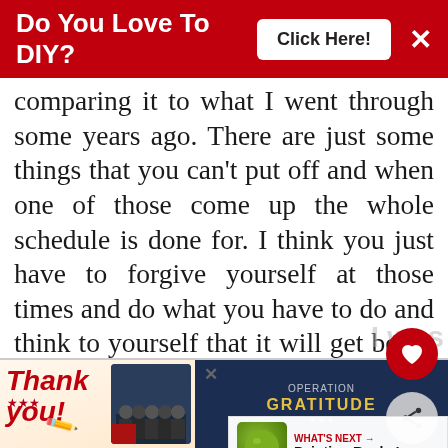[Figure (screenshot): Red banner advertisement overlay saying 'Do You Love To DIY?' with a 'Click Here!' button and an X close button]
comparing it to what I went through some years ago. There are just some things that you can't put off and when one of those come up the whole schedule is done for. I think you just have to forgive yourself at those times and do what you have to do and think to yourself that it will get better and don't beat yourself up. However, I found a way, this was also years ago, to keep to a schedule on the days that are not so bad. I am planning on going back to it, even though I don't have the
[Figure (screenshot): Bottom advertisement banner showing 'Thank you' with Operation Gratitude imagery and firefighters]